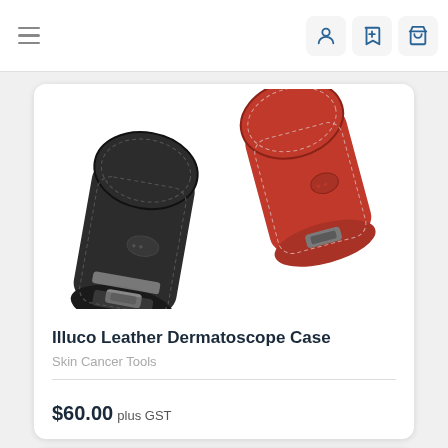Navigation bar with hamburger menu and icons for account, saved, and cart
[Figure (photo): Two leather dermatoscope cases — one black (front) and one red (back) — photographed on a white background]
Illuco Leather Dermatoscope Case
Skin Cancer Tools
$60.00 plus GST